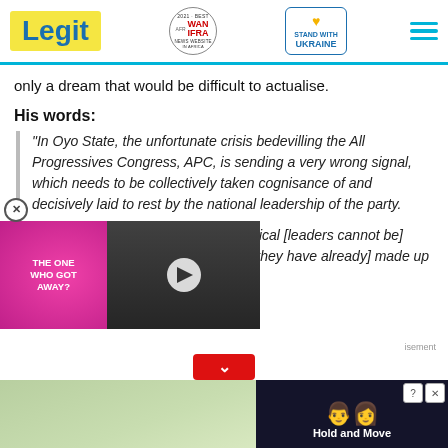Legit | WAN IFRA 2021 Best News Website in Africa | Stand with Ukraine
only a dream that would be difficult to actualise.
His words:
“In Oyo State, the unfortunate crisis bedevilling the All Progressives Congress, APC, is sending a very wrong signal, which needs to be collectively taken cognisance of and decisively laid to rest by the national leadership of the party.
“Senator Folarin must not forget that Oyo state political [leaders] cannot be manipulated nor coerced to do what they have already made up their minds against.”
[Figure (screenshot): Video overlay ad: 'The One Who Got Away?' with two people, play button, and red close button]
[Figure (screenshot): Bottom ad banner: Hold and Move app advertisement with tree background and people icon]